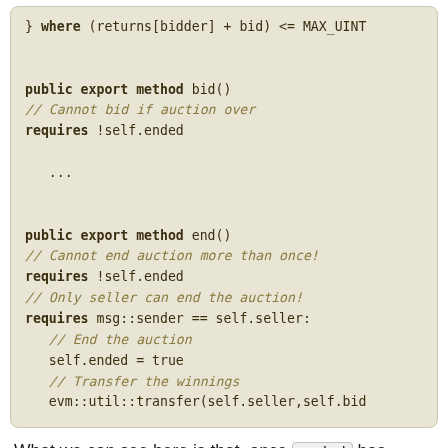[Figure (screenshot): Code block showing Rust/smart contract code with methods bid() and end(), including requires statements and comments about auction logic. The code is displayed on a beige/tan background with monospace font.]
What we can see here is that, once ended has